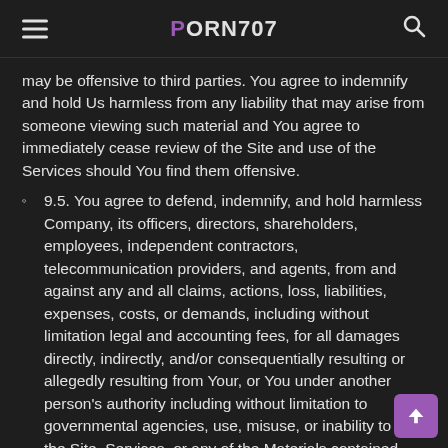PORN707
may be offensive to third parties. You agree to indemnify and hold Us harmless from any liability that may arise from someone viewing such material and You agree to immediately cease review of the Site and use of the Services should You find them offensive.
9.5. You agree to defend, indemnify, and hold harmless Company, its officers, directors, shareholders, employees, independent contractors, telecommunication providers, and agents, from and against any and all claims, actions, loss, liabilities, expenses, costs, or demands, including without limitation legal and accounting fees, for all damages directly, indirectly, and/or consequentially resulting or allegedly resulting from Your, or You under another person's authority including without limitation to governmental agencies, use, misuse, or inability to use the Site, Services, or any of the Materials contained therein, or Your breach of any of this Agreement. We shall promptly notify You by electronic mail of